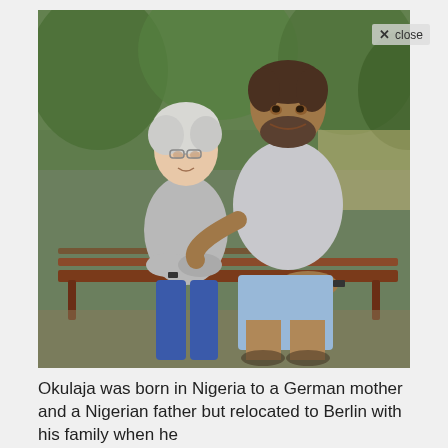[Figure (photo): An older white woman with short white hair and glasses and a tall middle-aged man with a beard, both wearing light grey tops, sitting together on a wooden bench in a park. The woman wears blue jeans and has her arms crossed. The man wears light blue shorts. Trees are visible in the background.]
Okulaja was born in Nigeria to a German mother and a Nigerian father but relocated to Berlin with his family when he